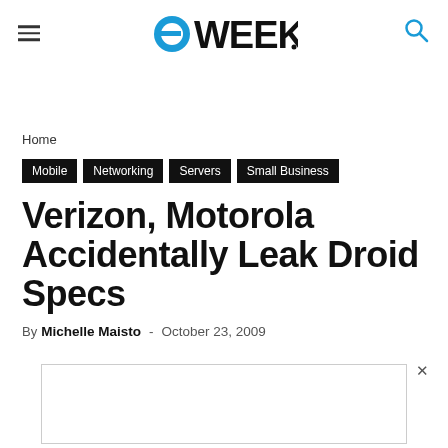eWEEK
Home
Mobile
Networking
Servers
Small Business
Verizon, Motorola Accidentally Leak Droid Specs
By Michelle Maisto - October 23, 2009
[Figure (other): Advertisement box with close button (x)]